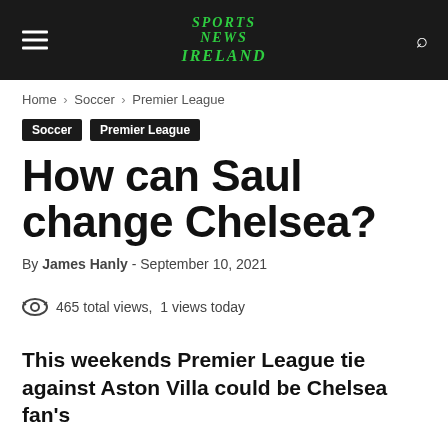Sports News Ireland
Home › Soccer › Premier League
Soccer
Premier League
How can Saul change Chelsea?
By James Hanly - September 10, 2021
465 total views, 1 views today
This weekends Premier League tie against Aston Villa could be Chelsea fan's